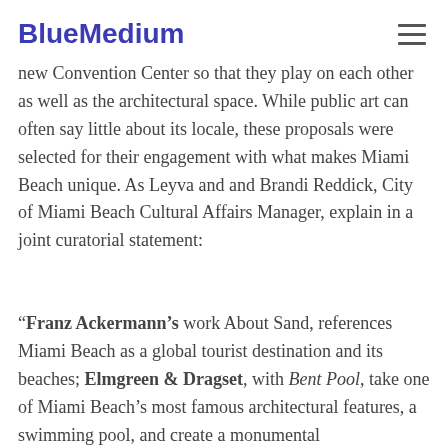BlueMedium
new Convention Center so that they play on each other as well as the architectural space. While public art can often say little about its locale, these proposals were selected for their engagement with what makes Miami Beach unique. As Leyva and and Brandi Reddick, City of Miami Beach Cultural Affairs Manager, explain in a joint curatorial statement:
“Franz Ackermann’s work About Sand, references Miami Beach as a global tourist destination and its beaches; Elmgreen & Dragset, with Bent Pool, take one of Miami Beach’s most famous architectural features, a swimming pool, and create a monumental